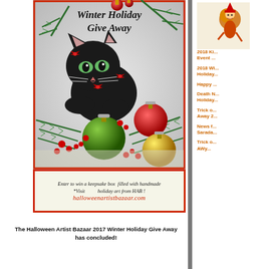[Figure (illustration): Vintage Christmas card illustration showing a black kitten with red bows, surrounded by pine branches and colorful Christmas ornaments (red, green, yellow). Text overlay reads 'Winter Holiday Give Away' in cursive black lettering at top.]
Enter to win a keepsake box filled with handmade *Visit holiday art from HAB ! halloweenartistbazaar.com
The Halloween Artist Bazaar 2017 Winter Holiday Give Away has concluded!
[Figure (illustration): Small vintage-style illustration of a character on the right sidebar]
2018 Ki... Event
2018 W... Holiday...
Happy ...
Death N... Holiday...
Trick o... Away 2...
News f... Sarada...
Trick o... AWy...